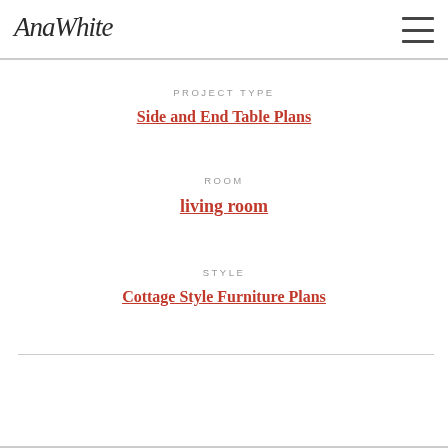AnaWhite
PROJECT TYPE
Side and End Table Plans
ROOM
living room
STYLE
Cottage Style Furniture Plans